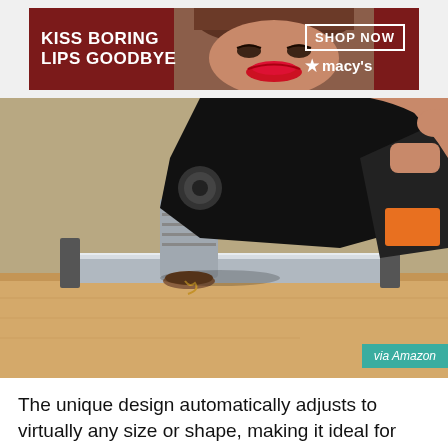[Figure (photo): Advertisement banner for Macy's with text 'KISS BORING LIPS GOODBYE', a woman's face with red lips, 'SHOP NOW' button, and Macy's star logo on dark red background]
[Figure (photo): A person using a black and orange power drill to drill into a piece of wood using a cylindrical drill bit, with a metal guide/fence. Label 'via Amazon' in bottom right corner.]
The unique design automatically adjusts to virtually any size or shape, making it ideal for screwing or